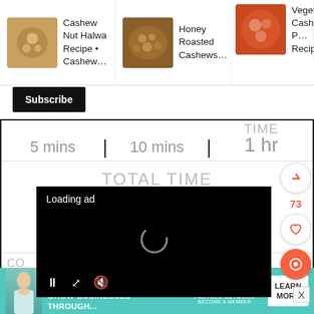[Figure (screenshot): Food recipe website screenshot showing a carousel of recipe thumbnails: Cashew Nut Halwa Recipe, Honey Roasted Cashews, Vegetable Cashew Recipe. Below a Subscribe button, then a recipe timing table with 5 mins, 10 mins, TIME / 1 hr. A TOTAL TIME label with a video ad overlay showing 'Loading ad' spinner and playback controls. Side social buttons with 73 likes. An info row showing COURSE: Appetizer and Indian. Bottom advertisement banner for SHE Media partner network.]